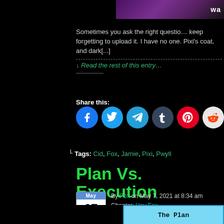[Figure (illustration): Partial view of a comic/illustration with purple character on dark background, with text 'wa' visible at right edge]
Sometimes you ask the right question, keep forgetting to upload it. I have no one. Pixi's coat, and dark[...]
↓ Read the rest of this entry…
Share this:
[Figure (infographic): Social share buttons: Facebook, Twitter, Telegram, Tumblr, Pinterest, Reddit]
⌐ Tags: Cid, Fox, Jamie, Pixi, Pwyll
Plan Vs. Execution
By Fox on May 7, 2021 at 8:34 am
Chapter: Hey Fox
Characters: Cid, G, Gabrial Fox, L…
[Figure (illustration): Bottom portion of a comic panel with light blue background and 'The Plan' text]